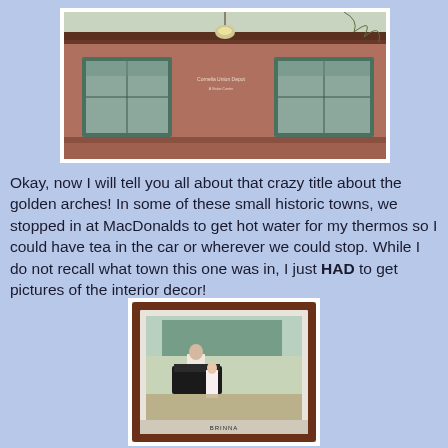[Figure (photo): Exterior of a historic brick building with green-trimmed windows and a sign reading 'Cornelia Union Depot'. A hanging lamp is visible above the entrance.]
Okay, now I will tell you all about that crazy title about the golden arches!  In some of these small historic towns, we stopped in at MacDonalds to get hot water for my thermos so I could have tea in the car or wherever we could stop.  While I do not recall what town this one was in, I just HAD to get pictures of the interior decor!
[Figure (photo): A framed painting hanging on a wall inside a McDonald's restaurant, depicting two children near a piano in a vintage style. The word 'BRINNA' or similar text appears at the bottom of the frame.]